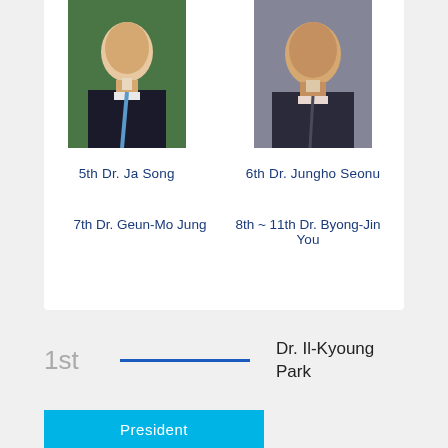[Figure (photo): Portrait photo of 5th Dr. Ja Song in dark suit with tie]
5th Dr. Ja Song
[Figure (photo): Portrait photo of 6th Dr. Jungho Seonu in dark suit]
6th Dr. Jungho Seonu
7th Dr. Geun-Mo Jung
8th ~ 11th Dr. Byong-Jin You
1st
Dr. Il-Kyoung Park
President